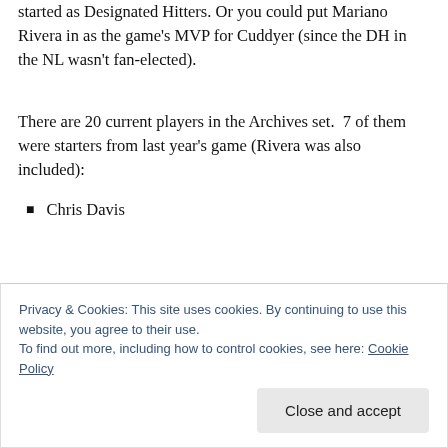started as Designated Hitters.  Or you could put Mariano Rivera in as the game's MVP for Cuddyer (since the DH in the NL wasn't fan-elected).
There are 20 current players in the Archives set.  7 of them were starters from last year's game (Rivera was also included):
Chris Davis
Privacy & Cookies: This site uses cookies. By continuing to use this website, you agree to their use.
To find out more, including how to control cookies, see here: Cookie Policy
Close and accept